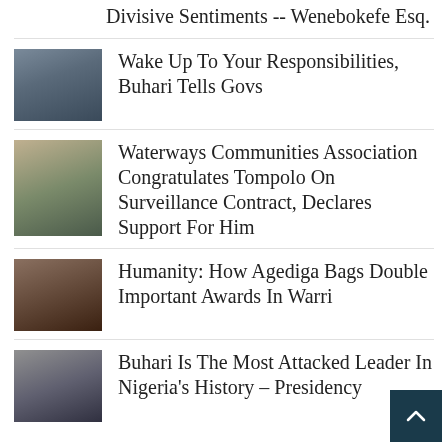Divisive Sentiments -- Wenebokefe Esq.
Wake Up To Your Responsibilities, Buhari Tells Govs
Waterways Communities Association Congratulates Tompolo On Surveillance Contract, Declares Support For Him
Humanity: How Agediga Bags Double Important Awards In Warri
Buhari Is The Most Attacked Leader In Nigeria's History – Presidency